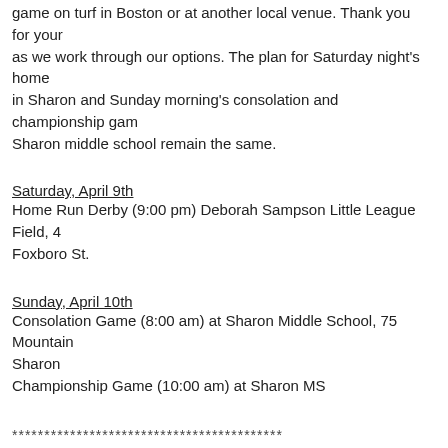game on turf in Boston or at another local venue. Thank you for your as we work through our options. The plan for Saturday night's home in Sharon and Sunday morning's consolation and championship gam Sharon middle school remain the same.
Saturday, April 9th
Home Run Derby (9:00 pm) Deborah Sampson Little League Field, 4 Foxboro St.
Sunday, April 10th
Consolation Game (8:00 am) at Sharon Middle School, 75 Mountain Sharon
Championship Game (10:00 am) at Sharon MS
******************************************
(Original schedule)
THURSDAY, APRIL 7
Game 1: 2:00 PM CTA vs Gann 333 Forest St, Waltham, MA
Game 2: 4:30 PM SHALHEVET vs CTA 333 Forest St, Waltham, MA